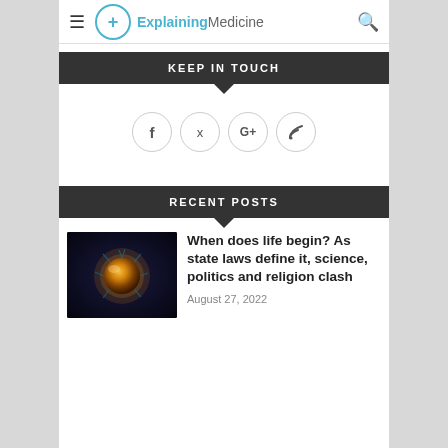ExplainingMedicine
KEEP IN TOUCH
[Figure (infographic): Four social media icon buttons in circles: Facebook (f), Twitter (bird), Google+ (G+), RSS (wifi/feed symbol)]
RECENT POSTS
[Figure (photo): Close-up image of a cell or embryo, glowing orange/yellow against a dark background with blue tints]
When does life begin? As state laws define it, science, politics and religion clash
August 27, 2022